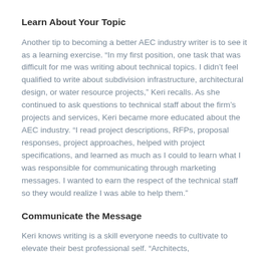Learn About Your Topic
Another tip to becoming a better AEC industry writer is to see it as a learning exercise. “In my first position, one task that was difficult for me was writing about technical topics. I didn’t feel qualified to write about subdivision infrastructure, architectural design, or water resource projects,” Keri recalls. As she continued to ask questions to technical staff about the firm’s projects and services, Keri became more educated about the AEC industry. “I read project descriptions, RFPs, proposal responses, project approaches, helped with project specifications, and learned as much as I could to learn what I was responsible for communicating through marketing messages. I wanted to earn the respect of the technical staff so they would realize I was able to help them.”
Communicate the Message
Keri knows writing is a skill everyone needs to cultivate to elevate their best professional self. “Architects,